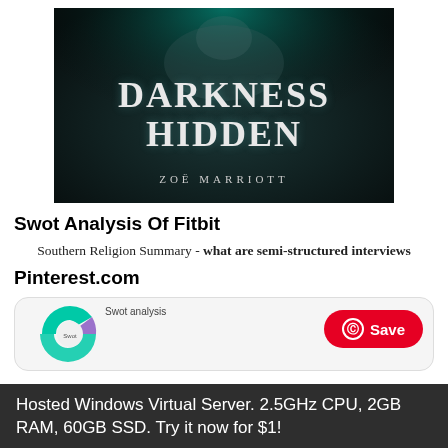[Figure (illustration): Book cover for 'Darkness Hidden' by Zoë Marriott. Dark teal/black atmospheric cover with large bold white title text 'DARKNESS HIDDEN' and author name 'ZOË MARRIOTT' below.]
Swot Analysis Of Fitbit
Southern Religion Summary - what are semi-structured interviews
Pinterest.com
[Figure (screenshot): Pinterest.com page showing a partial donut/pie chart in teal and purple, and a red Save button.]
Hosted Windows Virtual Server. 2.5GHz CPU, 2GB RAM, 60GB SSD. Try it now for $1!